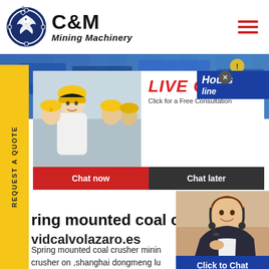[Figure (logo): C&M Mining Machinery logo with eagle/gear emblem in navy blue circle, bold C&M text and 'Mining Machinery' italic text]
[Figure (photo): Banner photo of blue industrial mining machinery]
REQUEST A QUOTE
[Figure (screenshot): Live chat popup overlay with workers in hard hats photo, LIVE CHAT title in red italic, 'Click for a Free Consultation' subtitle, Chat now (red) and Chat later (dark) buttons, close X button]
[Figure (photo): Hours Online badge in dark blue: 'Hours' and 'line' italic text]
ring mounted coal cru
vidcalvolazaro.es
Spring mounted coal crusher minin crusher on ,shanghai dongmeng lu ltd. was established in 2007. It is a m
[Figure (photo): Customer service woman with headset on right side widget with 'Click to Chat' blue button and 'Enquiry' bar below]